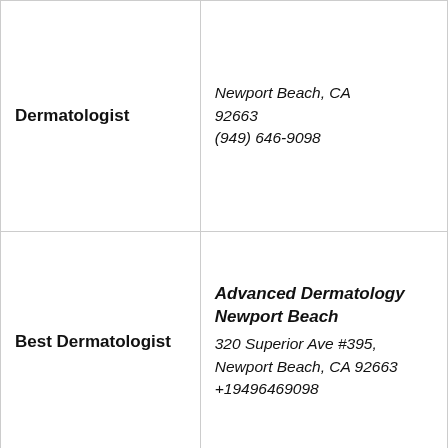| Category | Business Info |
| --- | --- |
| Dermatologist | 320 Superior Ave #395, Newport Beach, CA 92663
(949) 646-9098 |
| Best Dermatologist | Advanced Dermatology Newport Beach
320 Superior Ave #395, Newport Beach, CA 92663
+19496469098 |
| Newport Beach | Advanced Dermatology Newport Beach
320 Superior Ave #395, |